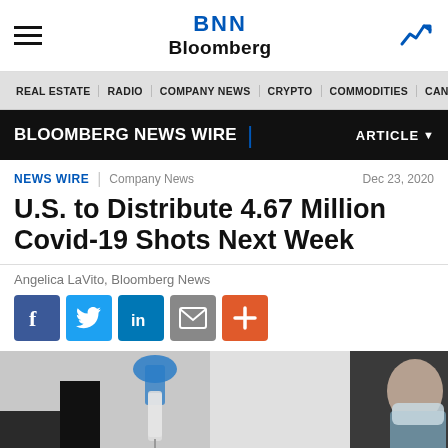BNN Bloomberg
REAL ESTATE | RADIO | COMPANY NEWS | CRYPTO | COMMODITIES | CANN
BLOOMBERG NEWS WIRE | ARTICLE
NEWS WIRE | Company News | Dec 23, 2020
U.S. to Distribute 4.67 Million Covid-19 Shots Next Week
Angelica LaVito, Bloomberg News
[Figure (other): Social sharing buttons: Facebook, Twitter, LinkedIn, Email, More]
[Figure (photo): Close-up photograph of a healthcare worker holding a syringe and vaccine vial, with a masked person visible in background]